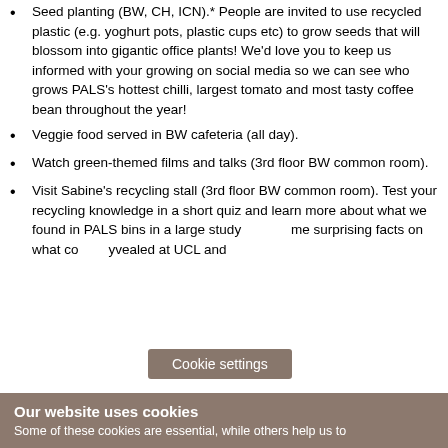Seed planting (BW, CH, ICN).* People are invited to use recycled plastic (e.g. yoghurt pots, plastic cups etc) to grow seeds that will blossom into gigantic office plants! We'd love you to keep us informed with your growing on social media so we can see who grows PALS's hottest chilli, largest tomato and most tasty coffee bean throughout the year!
Veggie food served in BW cafeteria (all day).
Watch green-themed films and talks (3rd floor BW common room).
Visit Sabine's recycling stall (3rd floor BW common room). Test your recycling knowledge in a short quiz and learn more about what we found in PALS bins in a large study [Cookie settings] me surprising facts on what co... ...yvealed at UCL and...
Cookie settings
Our website uses cookies
Some of these cookies are essential, while others help us to